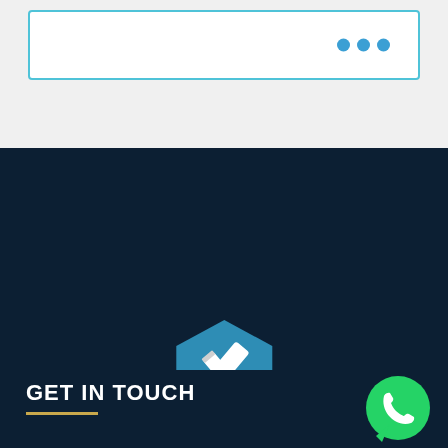[Figure (screenshot): Browser/UI bar with three blue dots on the right, on a light gray background]
[Figure (logo): WriteCDR logo: blue hexagon with white pencil/writing icon above text 'WriteCDR' on dark navy background]
GET IN TOUCH
[Figure (illustration): Green WhatsApp phone icon in bottom right corner]